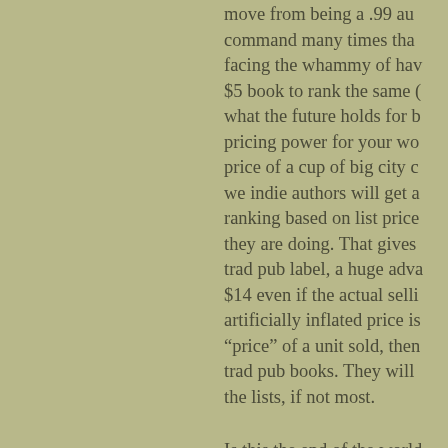move from being a .99 au command many times tha facing the whammy of hav $5 book to rank the same what the future holds for b pricing power for your wo price of a cup of big city c we indie authors will get a ranking based on list price they are doing. That gives trad pub label, a huge adva $14 even if the actual selli artificially inflated price is "price" of a unit sold, then trad pub books. They will the lists, if not most.
Is this the end of the world
Not really. It just means th boom times from the asso indie authors. Because now